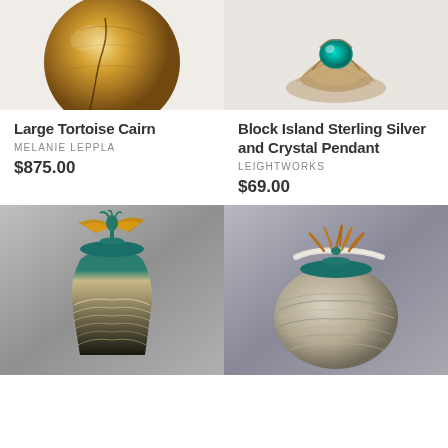[Figure (photo): Large ceramic sphere in golden-orange tortoise shell pattern with dark line crack detail]
[Figure (photo): Sterling silver and crystal pendant with teal/turquoise crystal stone set in layered organic metal form]
Large Tortoise Cairn
MELANIE LEPPLA
$875.00
Block Island Sterling Silver and Crystal Pendant
LEIGHTWORKS
$69.00
[Figure (photo): Tall ceramic vase with teal lid topped by abstract golden bird/flame sculpture, with swirling sand-colored marbled body]
[Figure (photo): Round ceramic jar with teal lid topped by driftwood and abstract sculptural elements, with swirling grey-sand marbled body]